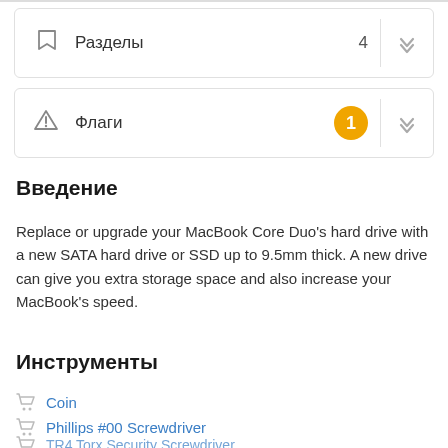Разделы  4
Флаги  1
Введение
Replace or upgrade your MacBook Core Duo's hard drive with a new SATA hard drive or SSD up to 9.5mm thick. A new drive can give you extra storage space and also increase your MacBook's speed.
Инструменты
Coin
Phillips #00 Screwdriver
TR4 Torx Security Screwdriver